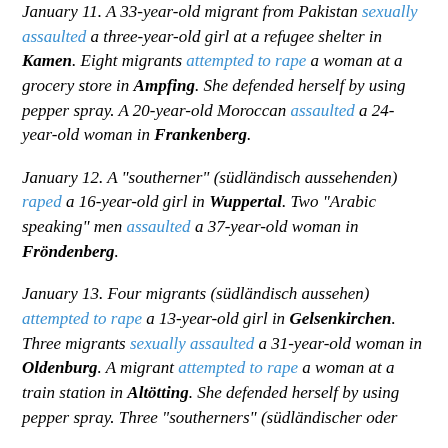January 11. A 33-year-old migrant from Pakistan sexually assaulted a three-year-old girl at a refugee shelter in Kamen. Eight migrants attempted to rape a woman at a grocery store in Ampfing. She defended herself by using pepper spray. A 20-year-old Moroccan assaulted a 24-year-old woman in Frankenberg.
January 12. A "southerner" (südländisch aussehenden) raped a 16-year-old girl in Wuppertal. Two "Arabic speaking" men assaulted a 37-year-old woman in Fröndenberg.
January 13. Four migrants (südländisch aussehen) attempted to rape a 13-year-old girl in Gelsenkirchen. Three migrants sexually assaulted a 31-year-old woman in Oldenburg. A migrant attempted to rape a woman at a train station in Altötting. She defended herself by using pepper spray. Three "southerners" (südländischer oder...